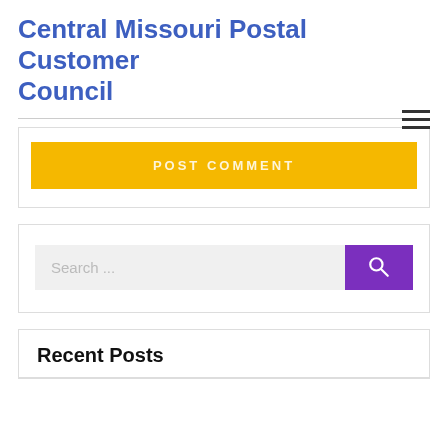Central Missouri Postal Customer Council
[Figure (screenshot): POST COMMENT button in yellow/gold color]
[Figure (screenshot): Search bar with purple search button and magnifying glass icon]
Recent Posts